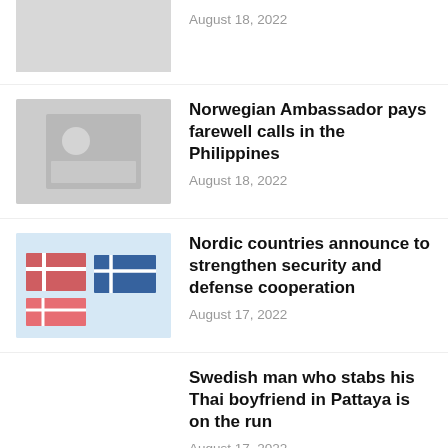[Figure (photo): Partially visible thumbnail image at the top, grayed out]
August 18, 2022
[Figure (photo): Thumbnail image showing people, Norwegian Ambassador farewell]
Norwegian Ambassador pays farewell calls in the Philippines
August 18, 2022
[Figure (photo): Thumbnail image with flags on a light blue background, Nordic countries]
Nordic countries announce to strengthen security and defense cooperation
August 17, 2022
Swedish man who stabs his Thai boyfriend in Pattaya is on the run
August 17, 2022
H&M backs discont...